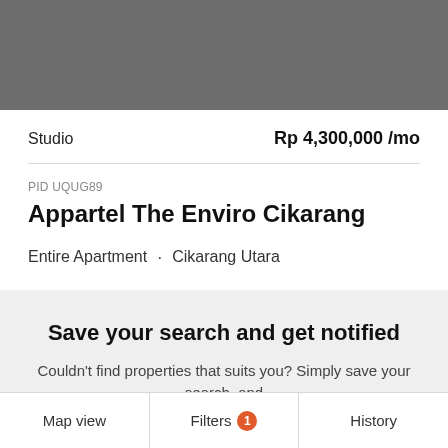[Figure (photo): Gray image placeholder at the top of the page]
Studio
Rp 4,300,000 /mo
PID UQUG89
Appartel The Enviro Cikarang
Entire Apartment · Cikarang Utara
Save your search and get notified
Couldn't find properties that suits you? Simply save your search, and
Map view    Filters 1    History